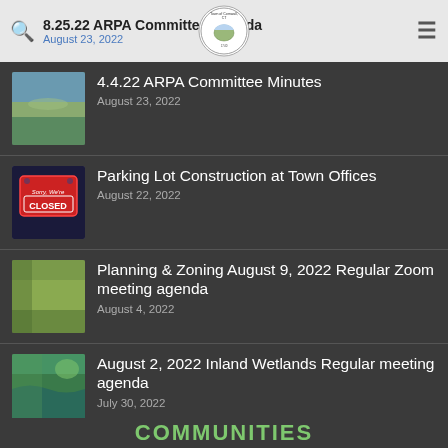8.25.22 ARPA Committee Agenda — August 23, 2022
4.4.22 ARPA Committee Minutes
August 23, 2022
Parking Lot Construction at Town Offices
August 22, 2022
Planning & Zoning August 9, 2022 Regular Zoom meeting agenda
August 4, 2022
August 2, 2022 Inland Wetlands Regular meeting agenda
July 30, 2022
COMMUNITIES